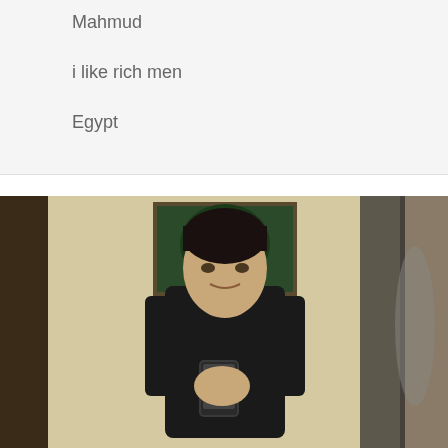Mahmud
i like rich men
Egypt
[Figure (photo): A young man in a black t-shirt taking a mirror selfie in a room with a framed painting on the wall and a dark pillar/door frame visible.]